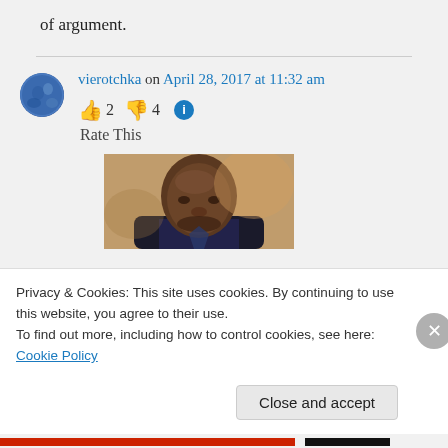of argument.
vierotchka on April 28, 2017 at 11:32 am
👍 2 👎 4 ℹ️ Rate This
[Figure (photo): Photograph of a man with a serious expression, dark background]
Privacy & Cookies: This site uses cookies. By continuing to use this website, you agree to their use. To find out more, including how to control cookies, see here: Cookie Policy